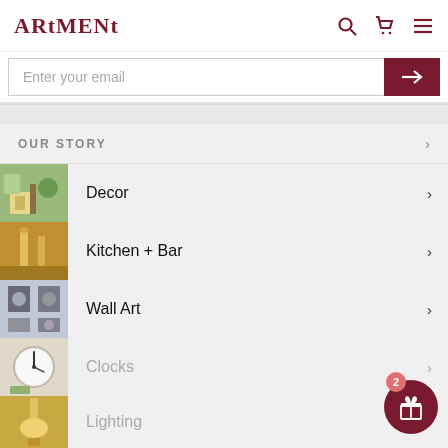ARTMENT
Enter your email
OUR STORY
Decor
Kitchen + Bar
Wall Art
Clocks
Lighting
Home Furnishing